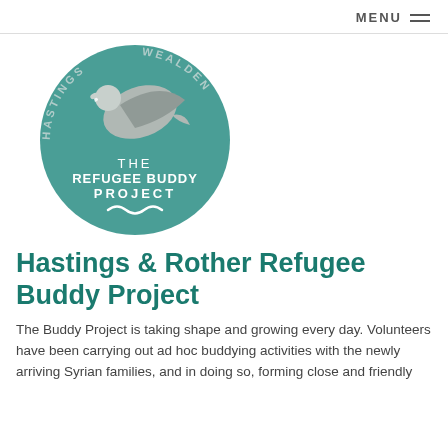MENU
[Figure (logo): Hastings Wealden The Refugee Buddy Project circular logo with a dove and waves, teal background with grey dove]
Hastings & Rother Refugee Buddy Project
The Buddy Project is taking shape and growing every day. Volunteers have been carrying out ad hoc buddying activities with the newly arriving Syrian families, and in doing so, forming close and friendly